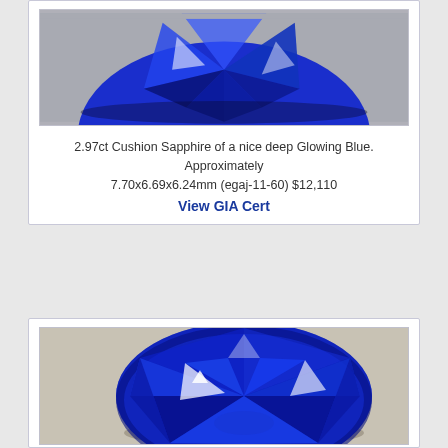[Figure (photo): Top portion of a cushion sapphire gemstone photo, showing the upper part of the stone against a neutral gray background]
2.97ct Cushion Sapphire of a nice deep Glowing Blue. Approximately 7.70x6.69x6.24mm (egaj-11-60) $12,110
View GIA Cert
[Figure (photo): Large oval-cut blue sapphire gemstone with vivid royal blue color, showing brilliant facets and white reflections, photographed on a neutral gray-beige surface]